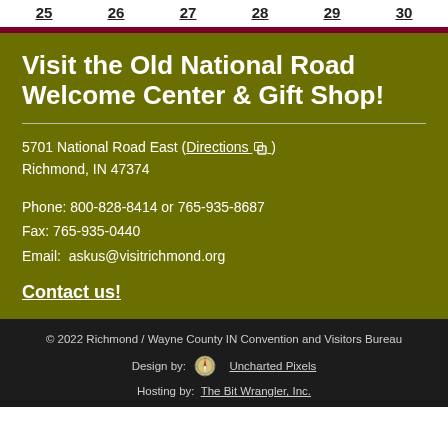25  26  27  28  29  30
Visit the Old National Road Welcome Center & Gift Shop!
5701 National Road East (Directions)
Richmond, IN 47374
Phone: 800-828-8414 or 765-935-8687
Fax: 765-935-0440
Email:  askus@visitrichmond.org
Contact us!
© 2022 Richmond / Wayne County IN Convention and Visitors Bureau
Design by: Uncharted Pixels
Hosting by: The Bit Wrangler, Inc.